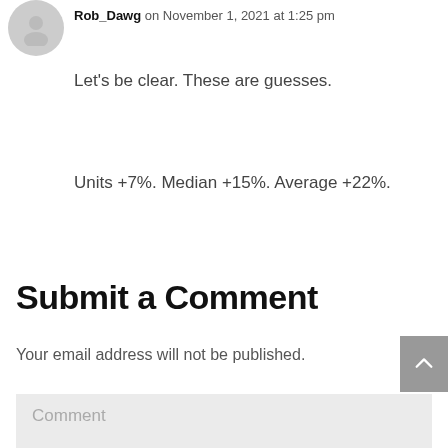[Figure (illustration): Gray circular avatar placeholder icon with a silhouette person shape]
Rob_Dawg on November 1, 2021 at 1:25 pm
Let's be clear. These are guesses.
Units +7%. Median +15%. Average +22%.
Submit a Comment
Your email address will not be published.
Comment